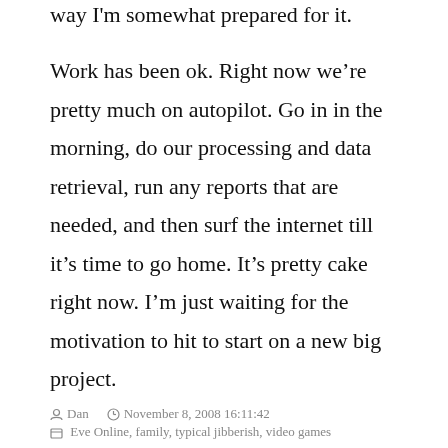way I'm somewhat prepared for it.
Work has been ok. Right now we're pretty much on autopilot. Go in in the morning, do our processing and data retrieval, run any reports that are needed, and then surf the internet till it's time to go home. It's pretty cake right now. I'm just waiting for the motivation to hit to start on a new big project.
Dan   November 8, 2008 16:11:42
Eve Online, family, typical jibberish, video games